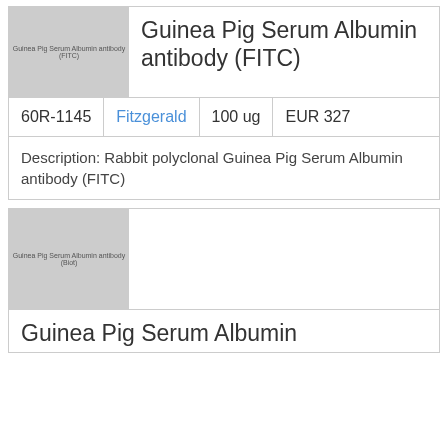[Figure (photo): Product thumbnail image placeholder for Guinea Pig Serum Albumin antibody (FITC) with gray background and small label text]
Guinea Pig Serum Albumin antibody (FITC)
| ID | Supplier | Quantity | Price |
| --- | --- | --- | --- |
| 60R-1145 | Fitzgerald | 100 ug | EUR 327 |
Description: Rabbit polyclonal Guinea Pig Serum Albumin antibody (FITC)
[Figure (photo): Product thumbnail image placeholder for second Guinea Pig Serum Albumin antibody with gray background and small label text]
Guinea Pig Serum Albumin